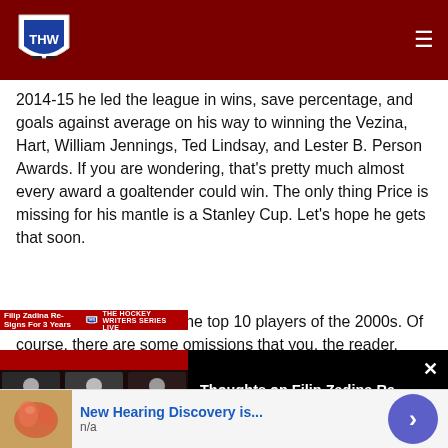THW - The Hockey Writers
2014-15 he led the league in wins, save percentage, and goals against average on his way to winning the Vezina, Hart, William Jennings, Ted Lindsay, and Lester B. Person Awards. If you are wondering, that's pretty much almost every award a goaltender could win. The only thing Price is missing for his mantle is a Stanley Cup. Let's hope he gets that soon.
Well, there you have it, the top 10 players of the 2000s. Of course, there are some omissions that you, the reader, may
[Figure (screenshot): Video player overlay showing Filip Zadina Re-Signing with the Red Wings for 3 Years, with thumbnail of video call participants on left and title text on dark background on right, with a close (X) button.]
Christmas and Happy Holidays.
[Figure (other): Advertisement bar: New Hearing Discovery is... n/a, with arrow button]